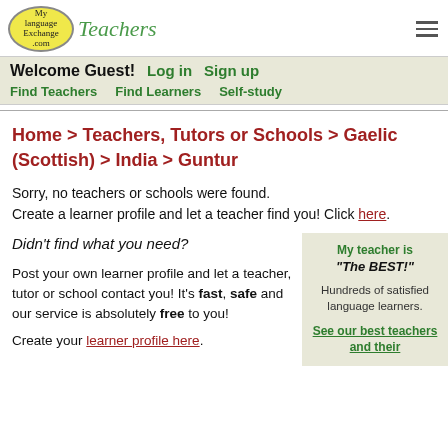[Figure (logo): MyLanguageExchange.com Teachers logo with yellow oval and green italic Teachers text]
Welcome Guest! Log in Sign up
Find Teachers Find Learners Self-study
Home > Teachers, Tutors or Schools > Gaelic (Scottish) > India > Guntur
Sorry, no teachers or schools were found. Create a learner profile and let a teacher find you! Click here.
Didn't find what you need?

Post your own learner profile and let a teacher, tutor or school contact you! It's fast, safe and our service is absolutely free to you!

Create your learner profile here.
My teacher is "The BEST!"

Hundreds of satisfied language learners.

See our best teachers and their